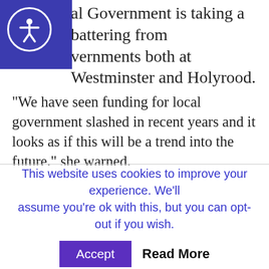al Government is taking a battering from vernments both at Westminster and Holyrood.
“We have seen funding for local government slashed in recent years and it looks as if this will be a trend into the future,” she warned.
“All too often we believe the rhetoric fed to us that there is no other option than cuts. But as ambassadors for public services we know the value of what we do. There is no aspect of anybody’s life that council services don’t touch.
This website uses cookies to improve your experience. We’ll assume you’re ok with this, but you can opt-out if you wish. Accept  Read More